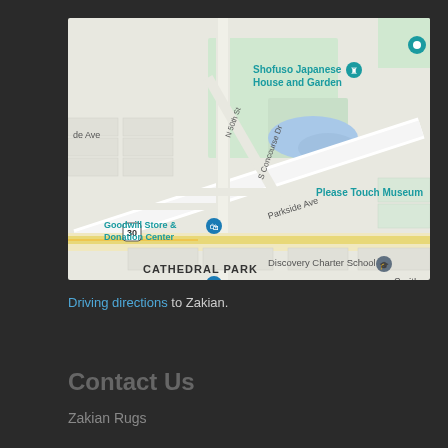[Figure (map): Google Map showing area around Parkside Ave, Philadelphia, PA. Visible landmarks include Shofuso Japanese House and Garden, Please Touch Museum, Goodwill Store & Donation Center, Lowe's Home Improvement, Discovery Charter School, Belmont Charter High School, S Concourse Dr, N 50th St, Parkside Ave, Route 30. Area labeled CATHEDRAL PARK at bottom.]
Driving directions to Zakian.
Contact Us
Zakian Rugs